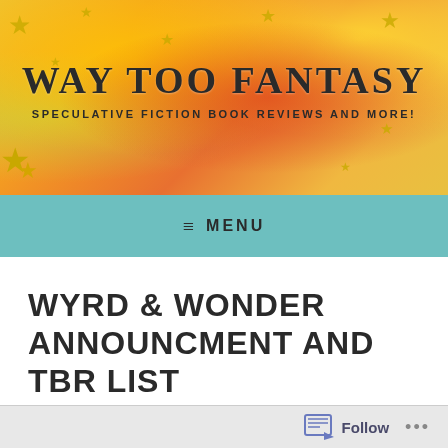[Figure (illustration): Website banner for 'Way Too Fantasy' blog with colorful orange, yellow, red gradient background with stars and sparkles]
WAY TOO FANTASY
SPECULATIVE FICTION BOOK REVIEWS AND MORE!
≡  MENU
WYRD & WONDER ANNOUNCMENT AND TBR LIST #WYRDANDWONDER
Follow ...